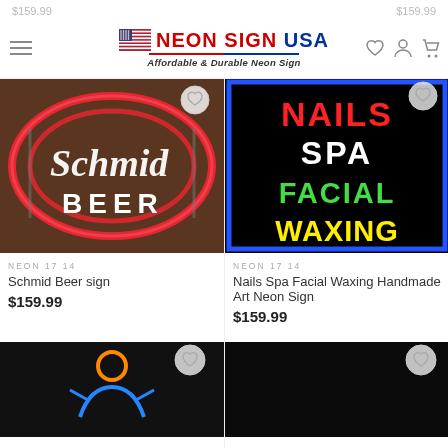NEON SIGN USA — Affordable & Durable Neon Sign
$159.99 $159.99
[Figure (photo): Schmid Beer neon sign — oval neon light sign with white script 'Schmid' and 'BEER' text on metal frame]
NEON 17 14
Schmid Beer sign
$159.99
[Figure (photo): Nails Spa Facial Waxing handmade art neon sign — black background with blue border, red NAILS, white SPA, green FACIAL, yellow WAXING text]
NEON 17 14
Nails Spa Facial Waxing Handmade Art Neon Sign
$159.99
[Figure (photo): Bottom left product — dark background with orange and blue figure icon neon sign]
[Figure (photo): Bottom right product — dark/black background neon sign, partially visible]